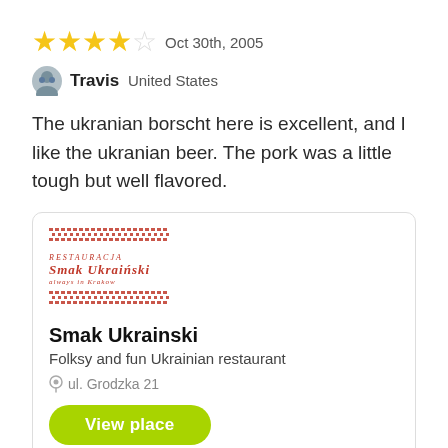★★★★☆ Oct 30th, 2005
Travis United States
The ukranian borscht here is excellent, and I like the ukranian beer. The pork was a little tough but well flavored.
[Figure (logo): Smak Ukrainski restaurant card with Ukrainian folk pattern decorations, logo text, restaurant name, description, address, and a green View place button]
Smak Ukrainski
Folksy and fun Ukrainian restaurant
ul. Grodzka 21